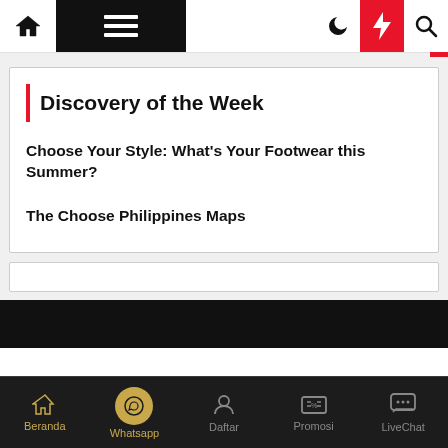Navigation bar with home, menu, moon, bolt, search icons
Discovery of the Week
Choose Your Style: What's Your Footwear this Summer?
The Choose Philippines Maps
Beranda | Whatsapp | Daftar | Promosi | LiveChat